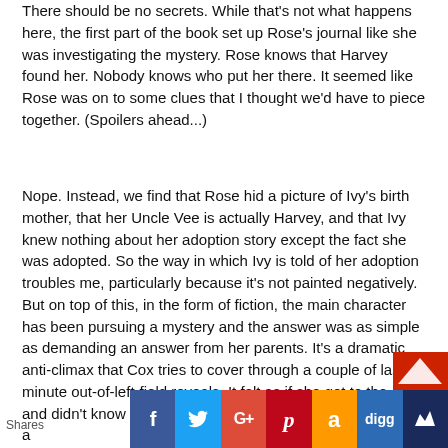There should be no secrets. While that's not what happens here, the first part of the book set up Rose's journal like she was investigating the mystery. Rose knows that Harvey found her. Nobody knows who put her there. It seemed like Rose was on to some clues that I thought we'd have to piece together. (Spoilers ahead...)
Nope. Instead, we find that Rose hid a picture of Ivy's birth mother, that her Uncle Vee is actually Harvey, and that Ivy knew nothing about her adoption story except the fact she was adopted. So the way in which Ivy is told of her adoption troubles me, particularly because it's not painted negatively. But on top of this, in the form of fiction, the main character has been pursuing a mystery and the answer was as simple as demanding an answer from her parents. It's a dramatic anti-climax that Cox tries to cover through a couple of last-minute out-of-left-field reveals. It felt as if she got to the end and didn't know how to write her way out of it and settled on a
[Figure (infographic): Social sharing bar at bottom with share buttons: Facebook (blue), Twitter (light blue), Google+ (red/orange), Pinterest (dark red), Amazon (orange), Digg (blue), Crown/other (dark navy). Shares label on left.]